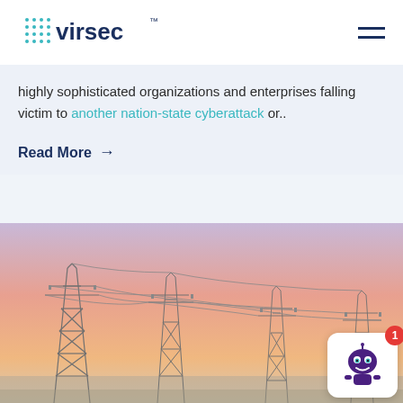[Figure (logo): Virsec logo with dot-grid pattern and brand name in dark navy blue]
highly sophisticated organizations and enterprises falling victim to another nation-state cyberattack or..
Read More →
[Figure (photo): Electrical power transmission towers and lines against a pink/orange sunset sky]
[Figure (other): Chatbot widget with robot icon and notification badge showing 1]